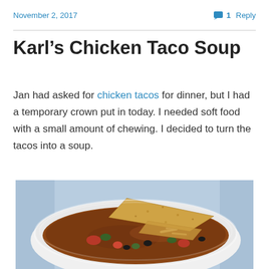November 2, 2017    💬 1 Reply
Karl's Chicken Taco Soup
Jan had asked for chicken tacos for dinner, but I had a temporary crown put in today. I needed soft food with a small amount of chewing. I decided to turn the tacos into a soup.
[Figure (photo): A white bowl of chicken taco soup with tortilla chips on top, visible black beans, red tomatoes, and green vegetables in a brown broth, on a blue floral tablecloth background]